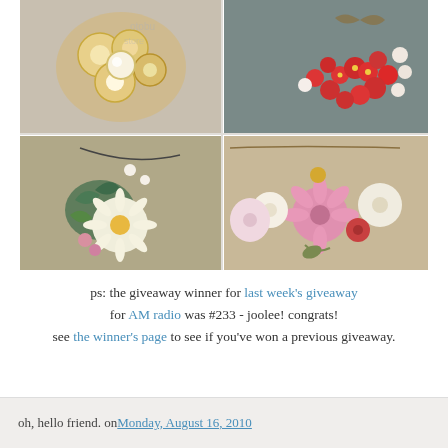[Figure (photo): 2x2 grid of four floral jewelry/necklace photos: top-left gold floral brooch with pearl, top-right red flower cluster brooch, bottom-left green patina floral necklace with daisy, bottom-right pink and cream flower cluster necklace on chain]
ps: the giveaway winner for last week's giveaway for AM radio was #233 - joolee! congrats! see the winner's page to see if you've won a previous giveaway.
oh, hello friend. on Monday, August 16, 2010